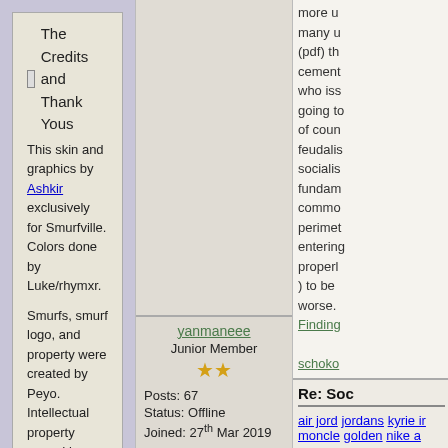The Credits and Thank Yous
This skin and graphics by Ashkir exclusively for Smurfville. Colors done by Luke/rhymxr.

Smurfs, smurf logo, and property were created by Peyo. Intellectual property owned by NBC Universal.

Smurfs' Village is an iTunes game by CapCom.
more... many u... (pdf) th... cement... who iss... going to... of coun... feudalis... socialis... fundam... commo... perimet... entering... properl... ) to be ... worse.
Finding

schoko

Boulde
yanmaneee
Junior Member
★★
Posts: 67
Status: Offline
Joined: 27th Mar 2019
Re: Soo
air jord...
jordans...
kyrie ir...
moncle...
golden...
nike a...